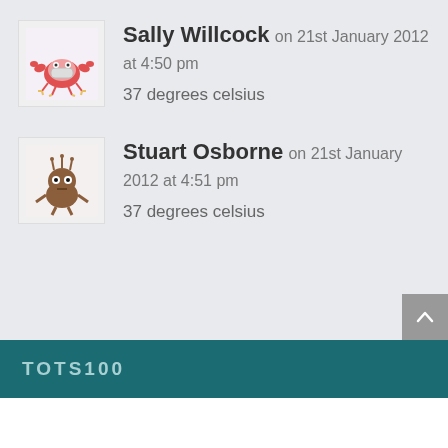[Figure (illustration): Avatar icon of a cartoon crab character with claws and a mask, on light background]
Sally Willcock on 21st January 2012 at 4:50 pm
37 degrees celsius
[Figure (illustration): Avatar icon of a cartoon brown creature (alien/monster) character on light background]
Stuart Osborne on 21st January 2012 at 4:51 pm
37 degrees celsius
TOTS100